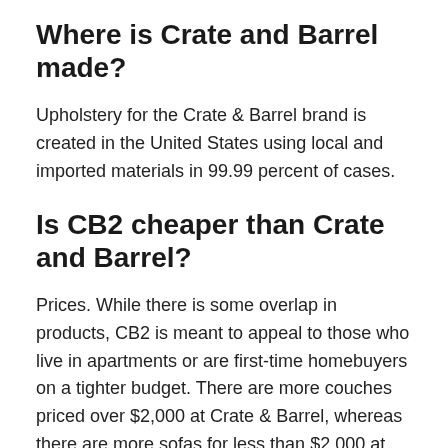Where is Crate and Barrel made?
Upholstery for the Crate & Barrel brand is created in the United States using local and imported materials in 99.99 percent of cases.
Is CB2 cheaper than Crate and Barrel?
Prices. While there is some overlap in products, CB2 is meant to appeal to those who live in apartments or are first-time homebuyers on a tighter budget. There are more couches priced over $2,000 at Crate & Barrel, whereas there are more sofas for less than $2,000 at CB2, for example. However, both retailers offer a super-